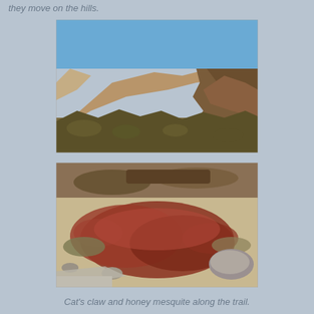they move on the hills.
[Figure (photo): Desert mountain landscape with rocky hillside, sparse desert vegetation in foreground, blue sky above.]
[Figure (photo): Desert ground-level view of red-stemmed bushy plants (cat's claw) and honey mesquite along a trail, with rocks and sandy soil.]
Cat's claw and honey mesquite along the trail.